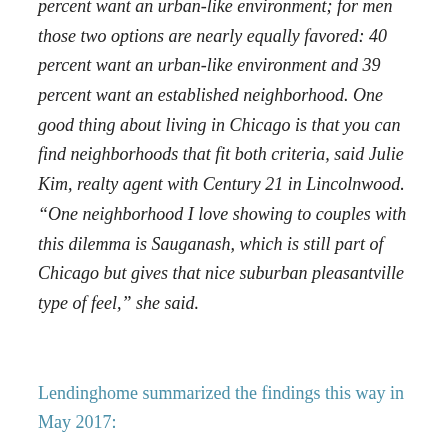percent want an urban-like environment; for men those two options are nearly equally favored: 40 percent want an urban-like environment and 39 percent want an established neighborhood. One good thing about living in Chicago is that you can find neighborhoods that fit both criteria, said Julie Kim, realty agent with Century 21 in Lincolnwood. “One neighborhood I love showing to couples with this dilemma is Sauganash, which is still part of Chicago but gives that nice suburban pleasantville type of feel,” she said.
Lendinghome summarized the findings this way in May 2017: